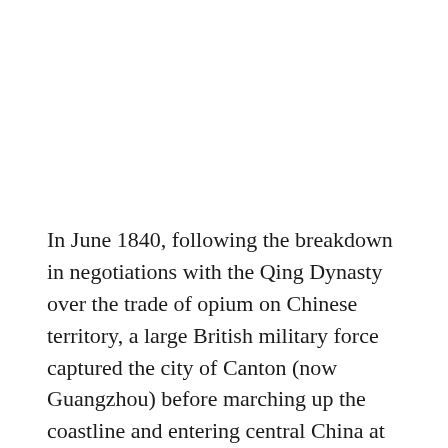In June 1840, following the breakdown in negotiations with the Qing Dynasty over the trade of opium on Chinese territory, a large British military force captured the city of Canton (now Guangzhou) before marching up the coastline and entering central China at the Yangtze River delta. Within two years, Great Britain had routed China and, during the subsequent peace treaty, extracted